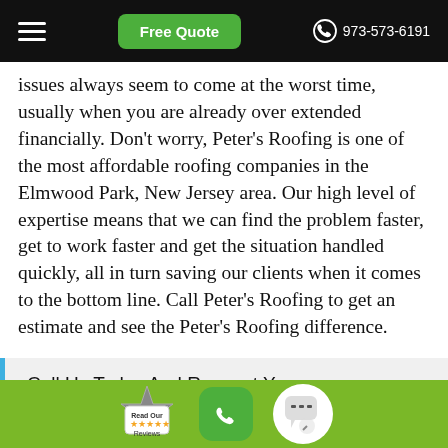Free Quote | 973-573-6191
issues always seem to come at the worst time, usually when you are already over extended financially. Don't worry, Peter's Roofing is one of the most affordable roofing companies in the Elmwood Park, New Jersey area. Our high level of expertise means that we can find the problem faster, get to work faster and get the situation handled quickly, all in turn saving our clients when it comes to the bottom line. Call Peter's Roofing to get an estimate and see the Peter's Roofing difference.
Call Us Today And Request Your FREE Estimate At +1 973-573-6191
Read Our Reviews | phone | chat